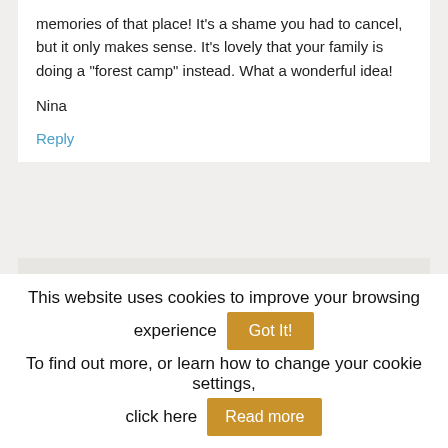memories of that place! It’s a shame you had to cancel, but it only makes sense. It’s lovely that your family is doing a “forest camp” instead. What a wonderful idea!
Nina
Reply
Brigitta says
May 17, 2020 at 9:54 pm
This website uses cookies to improve your browsing experience  Got It!
To find out more, or learn how to change your cookie settings, click here  Read more